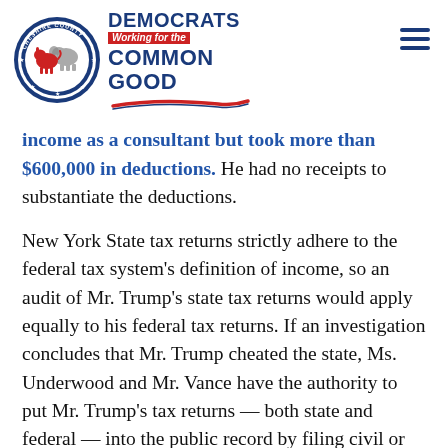[Figure (logo): Cheshire County Democrats circular badge logo with donkey and elephant, next to 'DEMOCRATS Working for the COMMON GOOD' text with red swoosh accent]
income as a consultant but took more than $600,000 in deductions. He had no receipts to substantiate the deductions.
New York State tax returns strictly adhere to the federal tax system's definition of income, so an audit of Mr. Trump's state tax returns would apply equally to his federal tax returns. If an investigation concludes that Mr. Trump cheated the state, Ms. Underwood and Mr. Vance have the authority to put Mr. Trump's tax returns — both state and federal — into the public record by filing civil or criminal tax fraud charges.